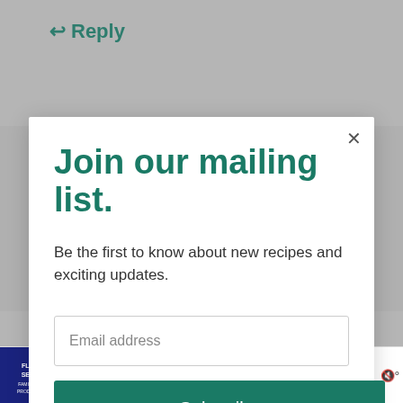↩ Reply
Join our mailing list.
Be the first to know about new recipes and exciting updates.
Email address
Subscribe
3
[Figure (infographic): Advertisement banner: Flex Seal Family of Products logo on left, orange text 'Get more Flex Seal. Get more done.' in center, The Home Depot logo on right, with play/mute/close controls]
Get more Flex Seal. Get more done.